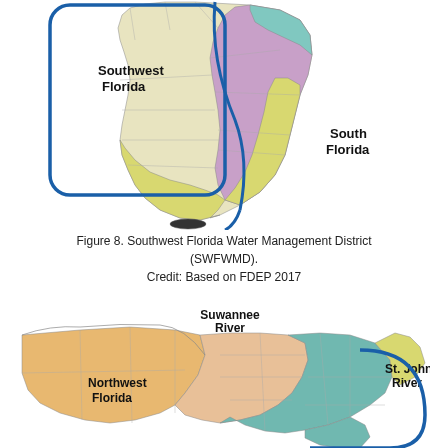[Figure (map): Map of south Florida showing water management districts: Southwest Florida (labeled with blue rounded rectangle outline) and South Florida district. Florida peninsula shown with county boundaries and color-coded districts in pink/purple, teal, and yellow regions.]
Figure 8. Southwest Florida Water Management District (SWFWMD).
Credit: Based on FDEP 2017
[Figure (map): Map of northern Florida showing water management districts: Northwest Florida (orange/tan), Suwannee River (labeled, peach/salmon), St. Johns River (labeled, teal/green with blue rounded rectangle outline extending south). County boundaries shown.]